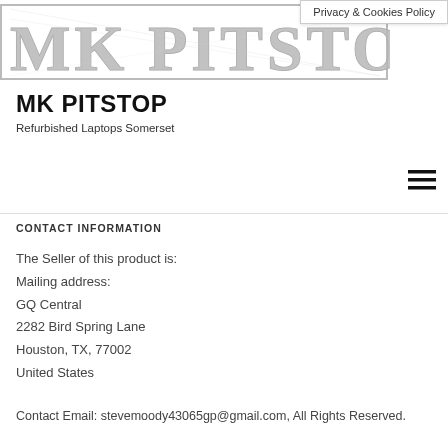[Figure (logo): MK PITSTOP logo with metallic/grey textured lettering and a rectangular border]
Privacy & Cookies Policy
MK PITSTOP
Refurbished Laptops Somerset
CONTACT INFORMATION
The Seller of this product is:
Mailing address:
GQ Central
2282 Bird Spring Lane
Houston, TX, 77002
United States
Contact Email: stevemoody43065gp@gmail.com, All Rights Reserved.